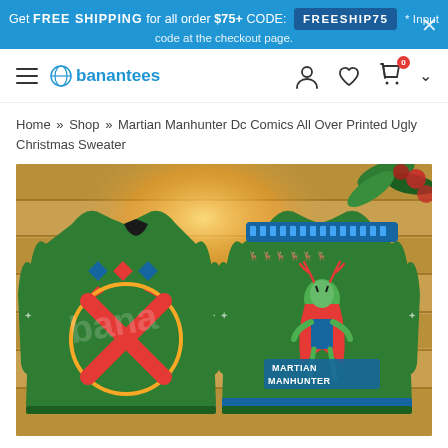Get FREE SHIPPING for all order $75+ CODE: FREESHIP75 * Input code at the checkout page.
[Figure (logo): Banantees website navigation bar with hamburger menu, banantees logo, user icon, heart icon, shopping bag icon with 0 badge, and chevron]
Home » Shop » Martian Manhunter Dc Comics All Over Printed Ugly Christmas Sweater
[Figure (photo): Product photo of Martian Manhunter DC Comics All Over Printed Ugly Christmas Sweater shown front and back view on a wooden background with Christmas decorations]